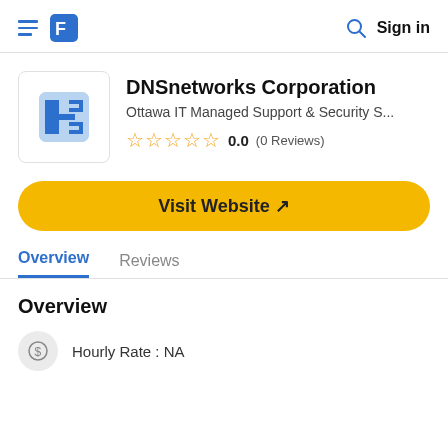DNSnetworks Corporation — Findstack app listing header with hamburger menu, logo, search, and Sign in
DNSnetworks Corporation
Ottawa IT Managed Support & Security S...
0.0 (0 Reviews)
Visit Website ↗
Overview
Reviews
Overview
Hourly Rate : NA